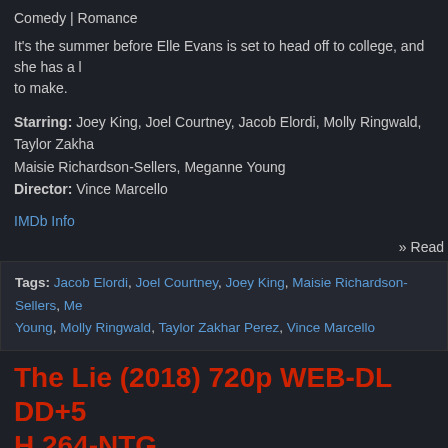Comedy | Romance
It's the summer before Elle Evans is set to head off to college, and she has a lot to make.
Starring: Joey King, Joel Courtney, Jacob Elordi, Molly Ringwald, Taylor Zakhar Perez, Maisie Richardson-Sellers, Meganne Young
Director: Vince Marcello
IMDb Info
» Read
Tags: Jacob Elordi, Joel Courtney, Joey King, Maisie Richardson-Sellers, Meganne Young, Molly Ringwald, Taylor Zakhar Perez, Vince Marcello
The Lie (2018) 720p WEB-DL DD+5 H.264-NTG
Posted on October 6, 2020 | No comments
Drama • Horror • Movie • Mystery • Thriller • Western
[Figure (screenshot): Thumbnail image partially visible at bottom of page]